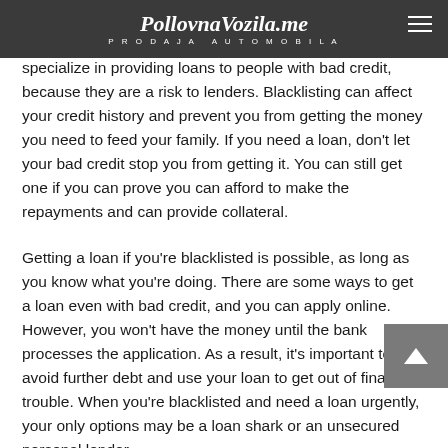PollovnaVozila.me PRODAJA AUTOMOBILA
Aside from bank loans, there are also microfinance institutions that offer blacklisted loans. These institutions specialize in providing loans to people with bad credit, because they are a risk to lenders. Blacklisting can affect your credit history and prevent you from getting the money you need to feed your family. If you need a loan, don't let your bad credit stop you from getting it. You can still get one if you can prove you can afford to make the repayments and can provide collateral.
Getting a loan if you're blacklisted is possible, as long as you know what you're doing. There are some ways to get a loan even with bad credit, and you can apply online. However, you won't have the money until the bank processes the application. As a result, it's important to avoid further debt and use your loan to get out of financial trouble. When you're blacklisted and need a loan urgently, your only options may be a loan shark or an unsecured personal lender.